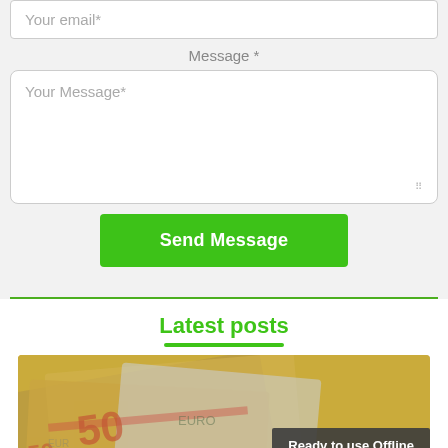Your email*
Message *
Your Message*
Send Message
Latest posts
[Figure (photo): Photo of euro banknotes (50 euro bills) blurred in background with a dark 'Ready to use Offline' badge overlay in bottom right corner]
Ready to use Offline